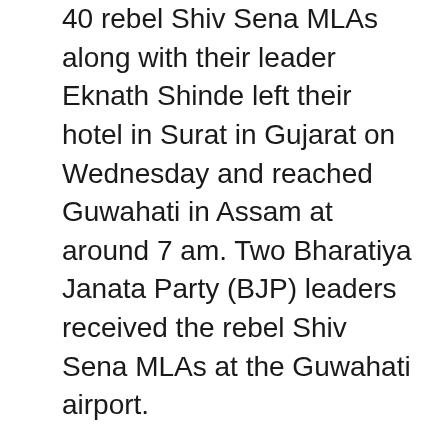40 rebel Shiv Sena MLAs along with their leader Eknath Shinde left their hotel in Surat in Gujarat on Wednesday and reached Guwahati in Assam at around 7 am. Two Bharatiya Janata Party (BJP) leaders received the rebel Shiv Sena MLAs at the Guwahati airport.
Eknath Shinde has claimed that he has the support of 46 MLAs, including 37 from the Shiv Sena.
Speaking to the media at the Guwahati airport, 58-year-old Shinde, an MLA from Thane district, said, “A total of 40 Shiv Sena